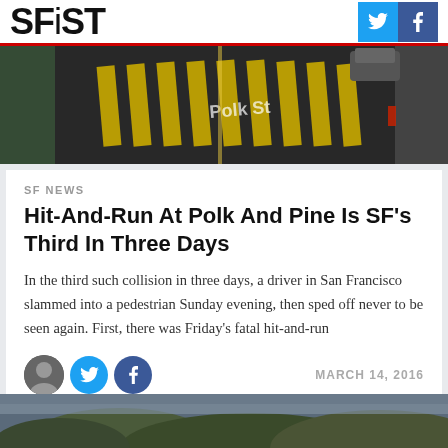SFiST
[Figure (photo): Aerial/street view of Polk Street intersection with crosswalk markings in yellow on dark asphalt]
SF NEWS
Hit-And-Run At Polk And Pine Is SF's Third In Three Days
In the third such collision in three days, a driver in San Francisco slammed into a pedestrian Sunday evening, then sped off never to be seen again. First, there was Friday's fatal hit-and-run
MARCH 14, 2016
[Figure (photo): Partial view of San Francisco hills landscape at bottom of page]